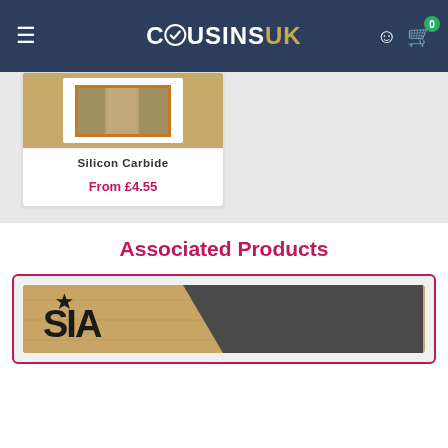COUSINS UK
[Figure (photo): Product image of Silicon Carbide paper/sheets, showing tan/brown colored abrasive sheets]
Silicon Carbide
From £4.55
Associated Products
[Figure (photo): Product image showing SIA branded abrasive sheets on a wooden surface]